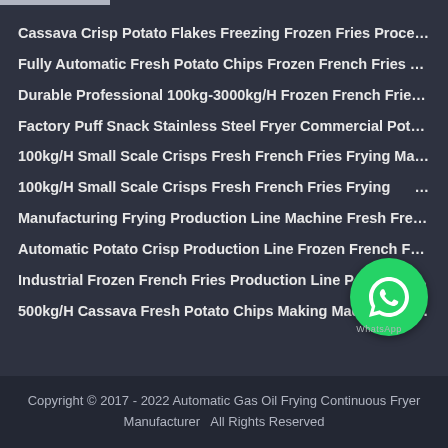Cassava Crisp Potato Flakes Freezing Frozen Fries Processing …
Fully Automatic Fresh Potato Chips Frozen French Fries Produc….
Durable Professional 100kg-3000kg/H Frozen French Fries/Pot…
Factory Puff Snack Stainless Steel Fryer Commercial Potato Fla…
100kg/H Small Scale Crisps Fresh French Fries Frying Making …
100kg/H Small Scale Crisps Fresh French Fries Frying…
Manufacturing Frying Production Line Machine Fresh French Frie…
Automatic Potato Crisp Production Line Frozen French Fries Ma…
Industrial Frozen French Fries Production Line Potato Chips Deo…
500kg/H Cassava Fresh Potato Chips Making Machine with Bes…
[Figure (logo): WhatsApp logo circle with phone icon and 'WhatsApp' label]
Copyright © 2017 - 2022 Automatic Gas Oil Frying Continuous Fryer Manufacturer   All Rights Reserved